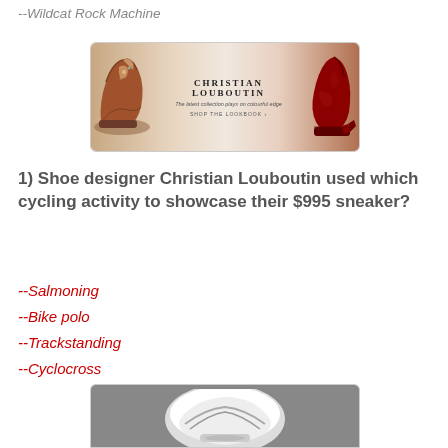--Wildcat Rock Machine
[Figure (photo): Christian Louboutin advertisement banner showing two high-heeled shoes and the brand name with tagline 'The latest collection plays on colourful edge' and 'SHOP THE LOOKBOOK']
1) Shoe designer Christian Louboutin used which cycling activity to showcase their $995 sneaker?
--Salmoning
--Bike polo
--Trackstanding
--Cyclocross
[Figure (photo): Partial bottom image showing what appears to be a cycling helmet in black and white]